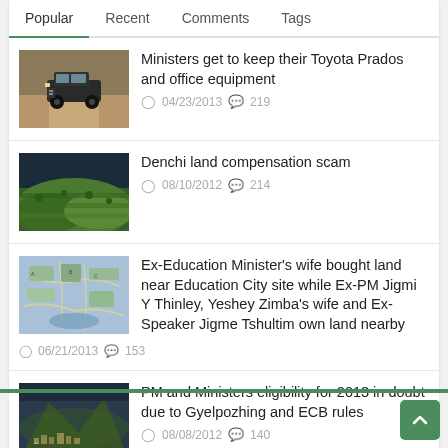Popular | Recent | Comments | Tags
[Figure (photo): Toyota Prado SUV driving on a dirt road]
Ministers get to keep their Toyota Prados and office equipment
04/23/2013  219
[Figure (photo): Aerial view of green terraced landscape]
Denchi land compensation scam
08/10/2012  214
[Figure (photo): Satellite/aerial map view of land area]
Ex-Education Minister’s wife bought land near Education City site while Ex-PM Jigmi Y Thinley, Yeshey Zimba’s wife and Ex-Speaker Jigme Tshultim own land nearby
06/21/2013  153
[Figure (photo): Aerial view of a mountain town/village]
PM and Ministers eligibility for 2013 in doubt due to Gyelpozhing and ECB rules
08/08/2012  140